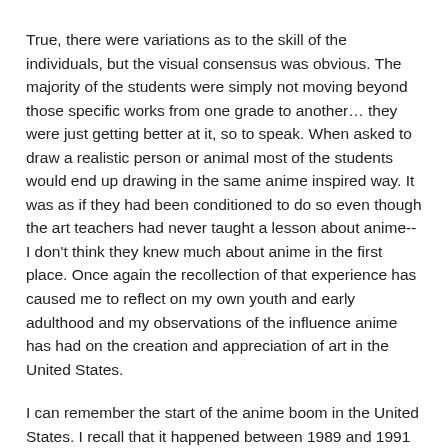True, there were variations as to the skill of the individuals, but the visual consensus was obvious. The majority of the students were simply not moving beyond those specific works from one grade to another… they were just getting better at it, so to speak. When asked to draw a realistic person or animal most of the students would end up drawing in the same anime inspired way. It was as if they had been conditioned to do so even though the art teachers had never taught a lesson about anime-- I don't think they knew much about anime in the first place. Once again the recollection of that experience has caused me to reflect on my own youth and early adulthood and my observations of the influence anime has had on the creation and appreciation of art in the United States.
I can remember the start of the anime boom in the United States. I recall that it happened between 1989 and 1991 and that it was spearheaded by Katsuhiro Otomo's film adaptation of his manga titled Akira. I can remember a commercial-- with a warning message at the start-- involving scenes from Akira and a few other films stating that anime